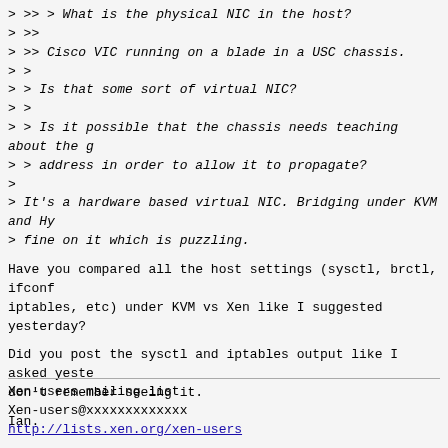> >> > What is the physical NIC in the host?
> >>
> >> Cisco VIC running on a blade in a USC chassis.
> >
> > Is that some sort of virtual NIC?
> >
> > Is it possible that the chassis needs teaching about the g
> > address in order to allow it to propagate?
>
> It's a hardware based virtual NIC. Bridging under KVM and Hy
> fine on it which is puzzling.
Have you compared all the host settings (sysctl, brctl, ifconf
iptables, etc) under KVM vs Xen like I suggested yesterday?
Did you post the sysctl and iptables output like I asked yeste
don't remember seeing it.
Ian.
Xen-users mailing list
Xen-users@xxxxxxxxxxxxx
http://lists.xen.org/xen-users